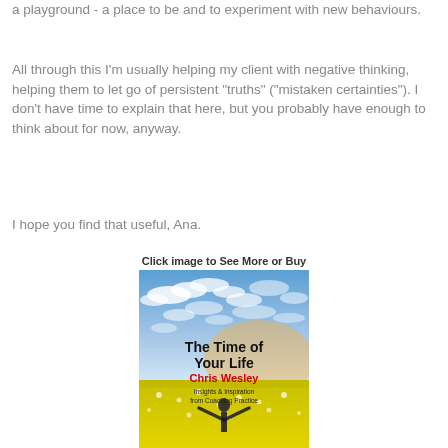a playground - a place to be and to experiment with new behaviours.
All through this I'm usually helping my client with negative thinking, helping them to let go of persistent "truths" ("mistaken certainties"). I don't have time to explain that here, but you probably have enough to think about for now, anyway.
I hope you find that useful, Ana.
Click image to See More or Buy
[Figure (illustration): Book cover of 'The Time of Your Life' by Chris Wesley. Features a blue sky with clouds in the upper half and a yellow flower field in the lower half, with a silhouette of a person standing with arms raised. Title text in bold black, author name in red, subtitle 'Insights & Inspiration from Coaching Practice' in smaller text.]